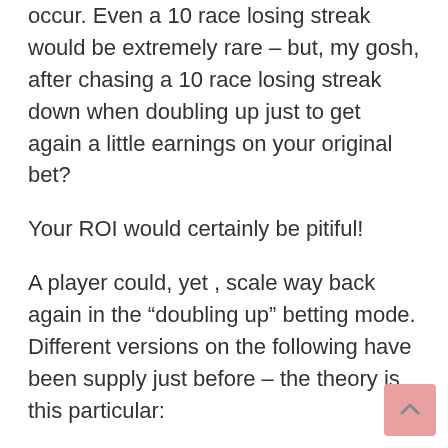occur. Even a 10 race losing streak would be extremely rare – but, my gosh, after chasing a 10 race losing streak down when doubling up just to get again a little earnings on your original bet?
Your ROI would certainly be pitiful!
A player could, yet , scale way back again in the “doubling up” betting mode. Different versions on the following have been supply just before – the theory is this particular:
Find an equine bet that offers a good winning percentage – say 35% or more. Smooth bet it right up until an average size losing streak has been encountered – point out 5 races — and